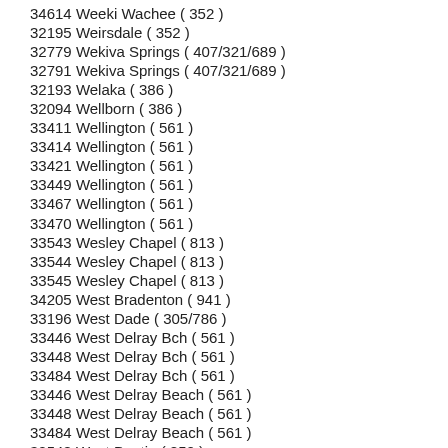34614 Weeki Wachee ( 352 )
32195 Weirsdale ( 352 )
32779 Wekiva Springs ( 407/321/689 )
32791 Wekiva Springs ( 407/321/689 )
32193 Welaka ( 386 )
32094 Wellborn ( 386 )
33411 Wellington ( 561 )
33414 Wellington ( 561 )
33421 Wellington ( 561 )
33449 Wellington ( 561 )
33467 Wellington ( 561 )
33470 Wellington ( 561 )
33543 Wesley Chapel ( 813 )
33544 Wesley Chapel ( 813 )
33545 Wesley Chapel ( 813 )
34205 West Bradenton ( 941 )
33196 West Dade ( 305/786 )
33446 West Delray Bch ( 561 )
33448 West Delray Bch ( 561 )
33484 West Delray Bch ( 561 )
33446 West Delray Beach ( 561 )
33448 West Delray Beach ( 561 )
33484 West Delray Beach ( 561 )
32548 West Destin ( 850 )
33023 West Hollywood ( 954/754 )
32904 West Melbourne ( 321 )
32912 West Melbourne ( 321 )